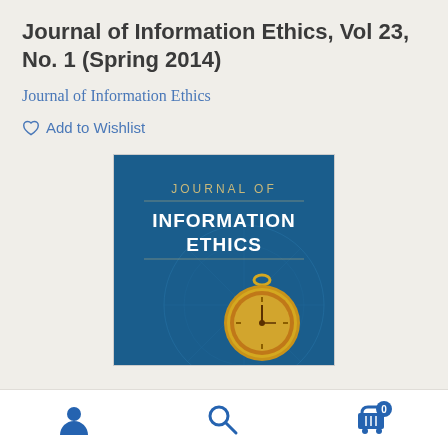Journal of Information Ethics, Vol 23, No. 1 (Spring 2014)
Journal of Information Ethics
Add to Wishlist
[Figure (illustration): Cover of Journal of Information Ethics showing the journal title in white text on a dark blue background with a gold compass/pocket watch in the lower right portion]
Navigation footer with user account icon, search icon, and cart icon with badge showing 0